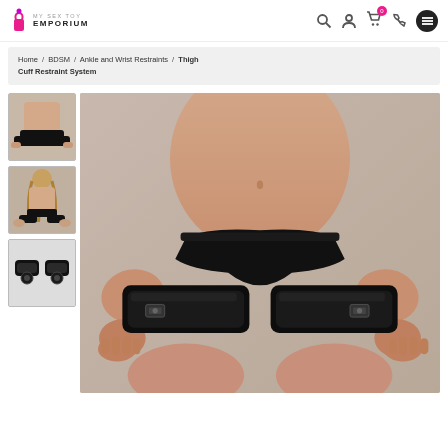MY SEX TOY EMPORIUM
Home / BDSM / Ankle and Wrist Restraints / Thigh Cuff Restraint System
[Figure (photo): Thumbnail 1: Front view of thigh cuff restraint system worn on person]
[Figure (photo): Thumbnail 2: Back view of person wearing thigh cuff restraint system]
[Figure (photo): Thumbnail 3: Close-up product shot of the thigh cuffs alone]
[Figure (photo): Main product image: Person wearing black thigh cuff restraint system, showing the wide black leather-look cuffs on each thigh with buckle hardware, person in black underwear, cropped mid-body shot]